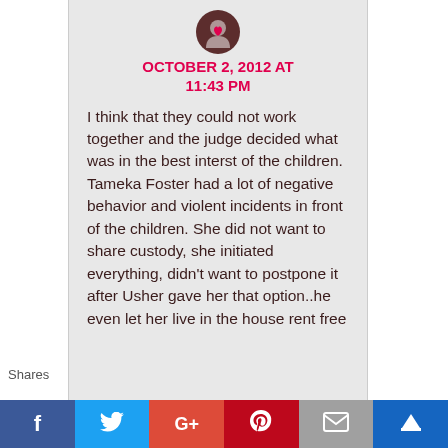OCTOBER 2, 2012 AT 11:43 PM
I think that they could not work together and the judge decided what was in the best interst of the children. Tameka Foster had a lot of negative behavior and violent incidents in front of the children. She did not want to share custody, she initiated everything, didn't want to postpone it after Usher gave her that option..he even let her live in the house rent free
Shares